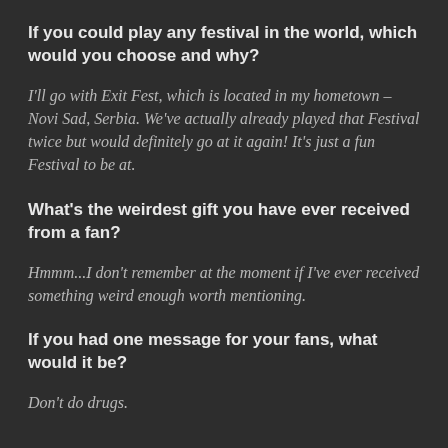If you could play any festival in the world, which would you choose and why?
I'll go with Exit Fest, which is located in my hometown – Novi Sad, Serbia. We've actually already played that Festival twice but would definitely go at it again! It's just a fun Festival to be at.
What's the weirdest gift you have ever received from a fan?
Hmmm...I don't remember at the moment if I've ever received something weird enough worth mentioning.
If you had one message for your fans, what would it be?
Don't do drugs.